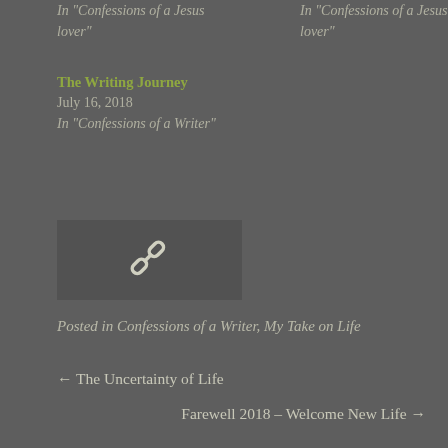In "Confessions of a Jesus lover"
In "Confessions of a Jesus lover"
The Writing Journey
July 16, 2018
In "Confessions of a Writer"
[Figure (other): Chain link icon on dark grey background thumbnail]
Posted in Confessions of a Writer, My Take on Life
← The Uncertainty of Life
Farewell 2018 – Welcome New Life →